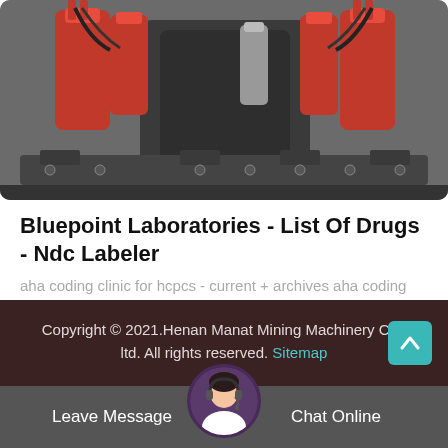[Figure (photo): Industrial mining machinery with red hydraulic cylinders and metal components on dark gray background]
Bluepoint Laboratories - List Of Drugs - Ndc Labeler
aha coding clinic for hcpcs - current + archives aha coding clinic for icd-10-cm and icd-10-pcs - current +...
Copyright © 2021.Henan Manat Mining Machinery Co., ltd. All rights reserved. Sitemap